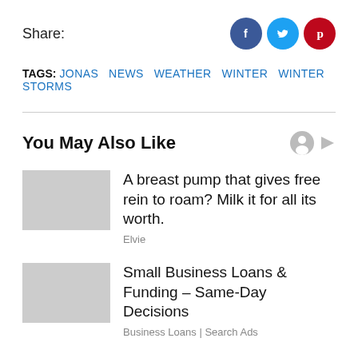Share:
TAGS: JONAS  NEWS  WEATHER  WINTER  WINTER STORMS
You May Also Like
A breast pump that gives free rein to roam? Milk it for all its worth.
Elvie
Small Business Loans & Funding – Same-Day Decisions
Business Loans | Search Ads